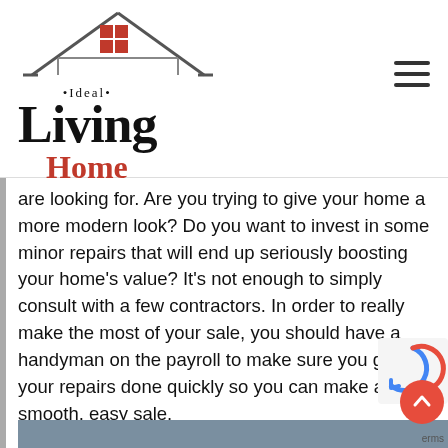[Figure (logo): Ideal Living Home logo with house illustration above the text]
are looking for. Are you trying to give your home a more modern look? Do you want to invest in some minor repairs that will end up seriously boosting your home’s value? It’s not enough to simply consult with a few contractors. In order to really make the most of your sale, you should have a handyman on the payroll to make sure you get your repairs done quickly so you can make a smooth, easy sale.
Save Time and Money